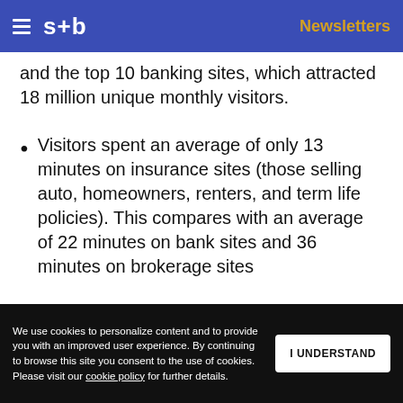s+b | Newsletters
and the top 10 banking sites, which attracted 18 million unique monthly visitors.
Visitors spent an average of only 13 minutes on insurance sites (those selling auto, homeowners, renters, and term life policies). This compares with an average of 22 minutes on bank sites and 36 minutes on brokerage sites
We use cookies to personalize content and to provide you with an improved user experience. By continuing to browse this site you consent to the use of cookies. Please visit our cookie policy for further details.